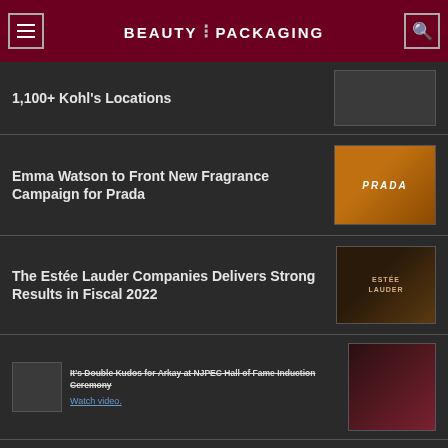BEAUTY PACKAGING
1,100+ Kohl's Locations
Emma Watson to Front New Fragrance Campaign for Prada
The Estée Lauder Companies Delivers Strong Results in Fiscal 2022
It's Double Kudos for Arkay at NJPEC Hall of Fame Induction Ceremony
Watch video.
[Figure (infographic): Luxe Pack Monaco advertisement: The premier trade show for creative packaging]